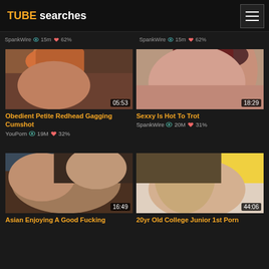TUBE searches
[Figure (screenshot): Thumbnail for Obedient Petite Redhead Gagging Cumshot, duration 05:53]
Obedient Petite Redhead Gagging Cumshot
YouPorn 19M 32%
[Figure (screenshot): Thumbnail for Sexxy Is Hot To Trot, duration 18:29]
Sexxy Is Hot To Trot
SpankWire 20M 31%
[Figure (screenshot): Thumbnail for Asian Enjoying A Good Fucking, duration 16:49]
Asian Enjoying A Good Fucking
[Figure (screenshot): Thumbnail for 20yr Old College Junior 1st Porn, duration 44:06]
20yr Old College Junior 1st Porn